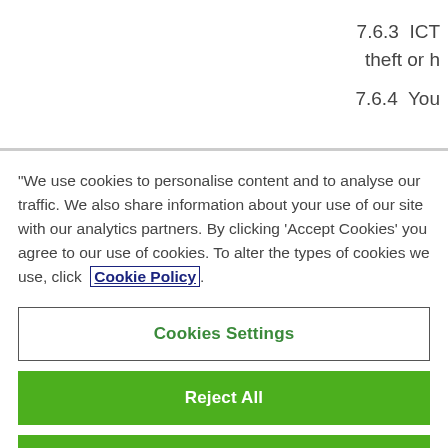7.6.3  ICT theft or h
7.6.4  You
“We use cookies to personalise content and to analyse our traffic. We also share information about your use of our site with our analytics partners. By clicking ‘Accept Cookies’ you agree to our use of cookies. To alter the types of cookies we use, click  Cookie Policy.
Cookies Settings
Reject All
Accept All Cookies